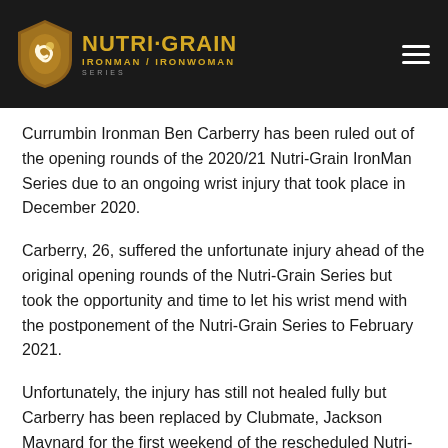[Figure (logo): Nutri-Grain Ironman / Ironwoman Series logo with shield icon on dark background header]
Currumbin Ironman Ben Carberry has been ruled out of the opening rounds of the 2020/21 Nutri-Grain IronMan Series due to an ongoing wrist injury that took place in December 2020.
Carberry, 26, suffered the unfortunate injury ahead of the original opening rounds of the Nutri-Grain Series but took the opportunity and time to let his wrist mend with the postponement of the Nutri-Grain Series to February 2021.
Unfortunately, the injury has still not healed fully but Carberry has been replaced by Clubmate, Jackson Maynard for the first weekend of the rescheduled Nutri-Grain Series.